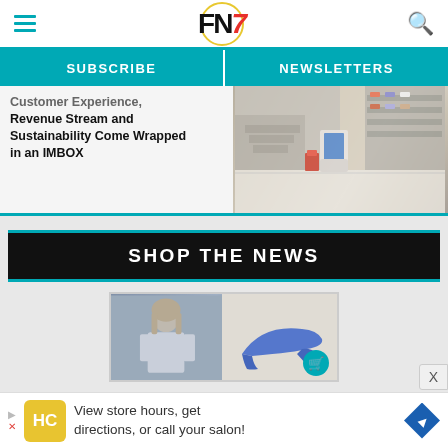[Figure (logo): FN (Footwear News) logo with a stylized 7 in red italic, inside a decorative circle with yellow border, flanked by teal hamburger menu icon and teal search icon]
SUBSCRIBE   NEWSLETTERS
Customer Experience, Revenue Stream and Sustainability Come Wrapped in an IMBOX
[Figure (photo): Interior of a shoe retail store showing shelves with sneakers and a central kiosk display unit (IMBOX)]
SHOP THE NEWS
[Figure (photo): Two product images side by side: a woman in white outfit and a blue high-heel shoe with a teal shopping cart icon overlay]
SHOES
[Figure (screenshot): Advertisement banner: HC logo on yellow background, text 'View store hours, get directions, or call your salon!' with blue diamond arrow icon]